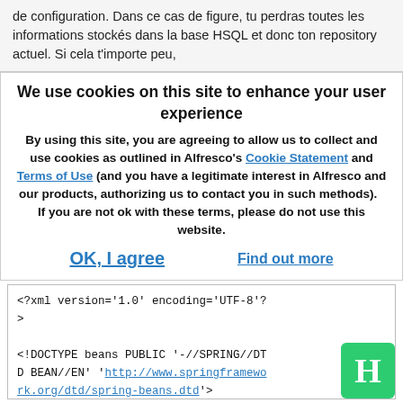de configuration. Dans ce cas de figure, tu perdras toutes les informations stockés dans la base HSQL et donc ton repository actuel. Si cela t'importe peu,
We use cookies on this site to enhance your user experience
By using this site, you are agreeing to allow us to collect and use cookies as outlined in Alfresco's Cookie Statement and Terms of Use (and you have a legitimate interest in Alfresco and our products, authorizing us to contact you in such methods).   If you are not ok with these terms, please do not use this website.
OK, I agree    Find out more
<?xml version='1.0' encoding='UTF-8'?>
<!DOCTYPE beans PUBLIC '-//SPRING//DTD BEAN//EN' 'http://www.springframework.org/dtd/spring-beans.dtd'>